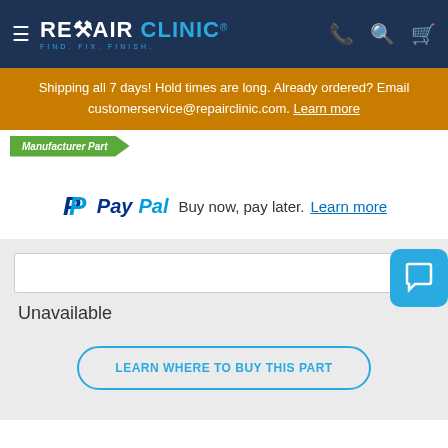REPAIR CLINIC - FIND. FIX. FINISH.
Shipping all 7 days! Hold times are long. Already ordered? Email customerservice@repairclinic.com. Learn more
Manufacturer Part
[Figure (logo): PayPal logo with 'P' symbol]
Buy now, pay later. Learn more
Unavailable
LEARN WHERE TO BUY THIS PART